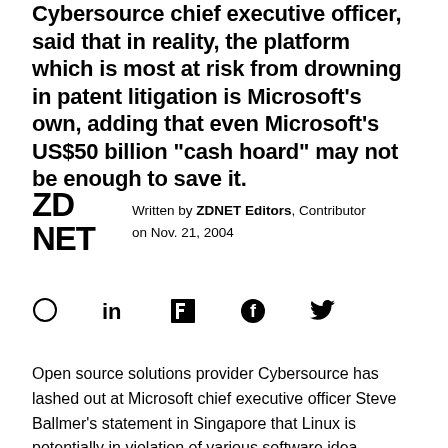Cybersource chief executive officer, said that in reality, the platform which is most at risk from drowning in patent litigation is Microsoft's own, adding that even Microsoft's US$50 billion "cash hoard" may not be enough to save it.
Written by ZDNET Editors, Contributor on Nov. 21, 2004
[Figure (logo): ZDNET logo in bold block letters]
[Figure (infographic): Social sharing icons: comment bubble, LinkedIn, Flipboard, Facebook, Twitter]
Open source solutions provider Cybersource has lashed out at Microsoft chief executive officer Steve Ballmer's statement in Singapore that Linux is potentially in violation of various software idea patents. Con Zymaris, Cybersource chief executive officer,